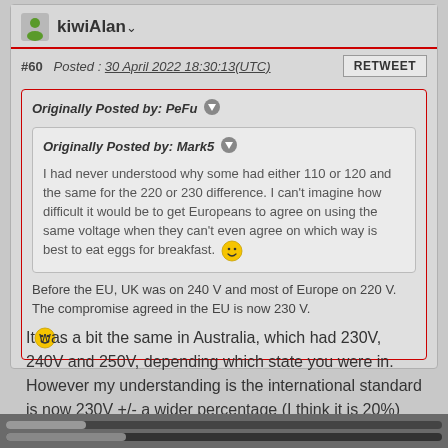kiwiAlan
#60  Posted : 30 April 2022 18:30:13(UTC)
Originally Posted by: PeFu
Originally Posted by: Mark5
I had never understood why some had either 110 or 120 and the same for the 220 or 230 difference. I can't imagine how difficult it would be to get Europeans to agree on using the same voltage when they can't even agree on which way is best to eat eggs for breakfast.
Before the EU, UK was on 240 V and most of Europe on 220 V. The compromise agreed in the EU is now 230 V.
It was a bit the same in Australia, which had 230V, 240V and 250V, depending which state you were in. However my understanding is the international standard is now 230V +/- a wider percentage (I think it is 20%) than the narrower percentage that it used to be, so they are all within the nominal